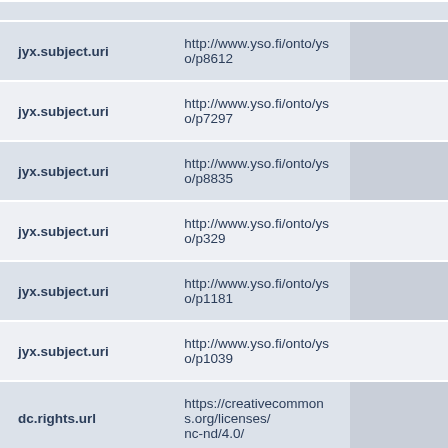| Field | Value |  |
| --- | --- | --- |
| jyx.subject.uri | http://www.yso.fi/onto/yso/p8612 |  |
| jyx.subject.uri | http://www.yso.fi/onto/yso/p7297 |  |
| jyx.subject.uri | http://www.yso.fi/onto/yso/p8835 |  |
| jyx.subject.uri | http://www.yso.fi/onto/yso/p329 |  |
| jyx.subject.uri | http://www.yso.fi/onto/yso/p1181 |  |
| jyx.subject.uri | http://www.yso.fi/onto/yso/p1039 |  |
| dc.rights.url | https://creativecommons.org/licenses/nc-nd/4.0/ |  |